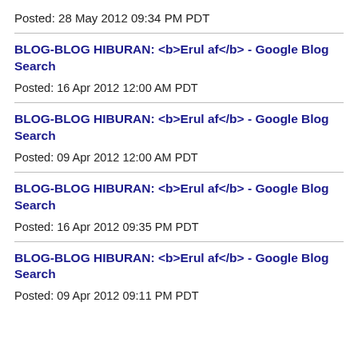Posted: 28 May 2012 09:34 PM PDT
BLOG-BLOG HIBURAN: <b>Erul af</b> - Google Blog Search
Posted: 16 Apr 2012 12:00 AM PDT
BLOG-BLOG HIBURAN: <b>Erul af</b> - Google Blog Search
Posted: 09 Apr 2012 12:00 AM PDT
BLOG-BLOG HIBURAN: <b>Erul af</b> - Google Blog Search
Posted: 16 Apr 2012 09:35 PM PDT
BLOG-BLOG HIBURAN: <b>Erul af</b> - Google Blog Search
Posted: 09 Apr 2012 09:11 PM PDT